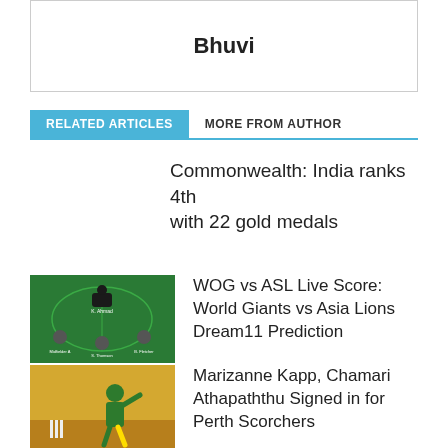Bhuvi
RELATED ARTICLES
MORE FROM AUTHOR
Commonwealth: India ranks 4th with 22 gold medals
[Figure (photo): Cricket Dream11 fantasy team lineup on green field graphic]
WOG vs ASL Live Score: World Giants vs Asia Lions Dream11 Prediction
[Figure (photo): Female cricket player bowling in yellow and green kit]
Marizanne Kapp, Chamari Athapaththu Signed in for Perth Scorchers